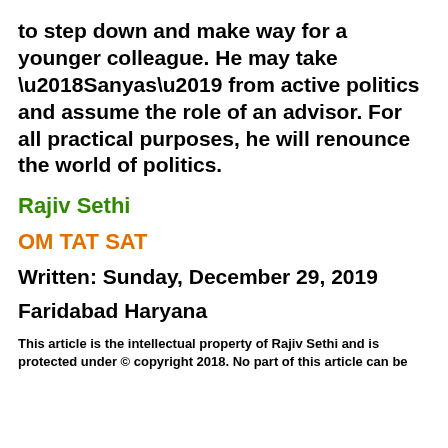to step down and make way for a younger colleague. He may take ‘Sanyas’ from active politics and assume the role of an advisor. For all practical purposes, he will renounce the world of politics.
Rajiv Sethi
OM TAT SAT
Written:  Sunday, December 29, 2019
Faridabad Haryana
This article is the intellectual property of Rajiv Sethi and is protected under © copyright 2018. No part of this article can be